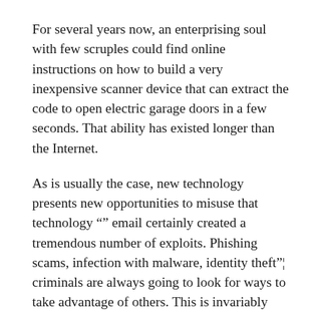For several years now, an enterprising soul with few scruples could find online instructions on how to build a very inexpensive scanner device that can extract the code to open electric garage doors in a few seconds. That ability has existed longer than the Internet.
As is usually the case, new technology presents new opportunities to misuse that technology “” email certainly created a tremendous number of exploits. Phishing scams, infection with malware, identity theft”¦ criminals are always going to look for ways to take advantage of others. This is invariably made easier if users have a false sense of security.
The growth of the IoT (Internet of Things) is presenting a target-rich environment for criminals, as people install gadgets to modernize their homes, without ensuring the components and systems they install are